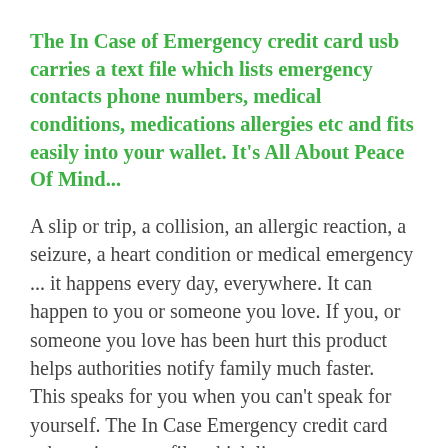The In Case of Emergency credit card usb carries a text file which lists emergency contacts phone numbers, medical conditions, medications allergies etc and fits easily into your wallet. It's All About Peace Of Mind...
A slip or trip, a collision, an allergic reaction, a seizure, a heart condition or medical emergency ... it happens every day, everywhere. It can happen to you or someone you love. If you, or someone you love has been hurt this product helps authorities notify family much faster.  This speaks for you when you can't speak for yourself. The In Case Emergency credit card usb carries a text file which lists emergency contacts phone numbers, medical conditions, medications allergies etc and fits easily